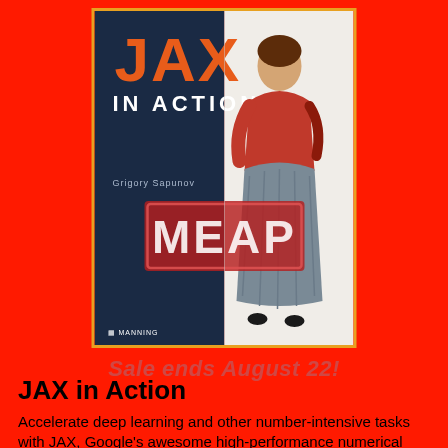[Figure (illustration): Book cover of 'JAX in Action' by Grigory Sapunov, Manning Publications. Dark navy blue left half with orange bold title 'JAX' and white subtitle 'IN ACTION', right half shows illustrated woman in red top and grey skirt. A red 'MEAP' stamp overlay is in the center. Manning logo at bottom left of cover.]
Sale ends August 22!
JAX in Action
Accelerate deep learning and other number-intensive tasks with JAX, Google's awesome high-performance numerical computing t...